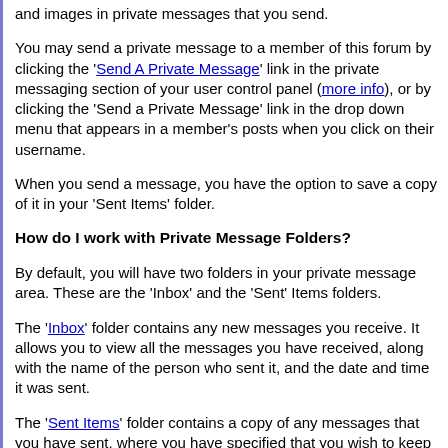and images in private messages that you send.
You may send a private message to a member of this forum by clicking the 'Send A Private Message' link in the private messaging section of your user control panel (more info), or by clicking the 'Send a Private Message' link in the drop down menu that appears in a member's posts when you click on their username.
When you send a message, you have the option to save a copy of it in your 'Sent Items' folder.
How do I work with Private Message Folders?
By default, you will have two folders in your private message area. These are the 'Inbox' and the 'Sent' Items folders.
The 'Inbox' folder contains any new messages you receive. It allows you to view all the messages you have received, along with the name of the person who sent it, and the date and time it was sent.
The 'Sent Items' folder contains a copy of any messages that you have sent, where you have specified that you wish to keep a copy for future reference.
You can create additional folders for your messages by clicking the 'Edit Folders' link.
Each folder has a set of message controls which allow you to select messages, then either move them to one of your custom folders, or delete them. Once you have selected your messages, you can choose the following options in the 'Selected Messages' box at the